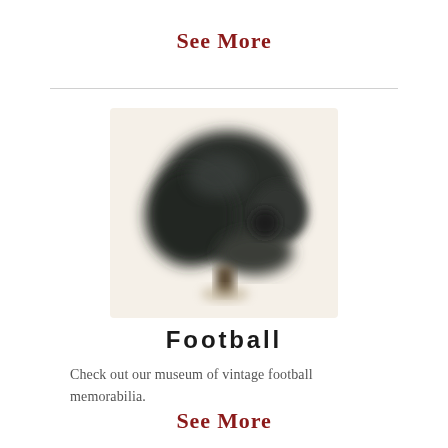See More
[Figure (photo): A vintage dark football helmet shown in profile view against a light cream/white background, slightly blurred/soft focus.]
Football
Check out our museum of vintage football memorabilia.
See More